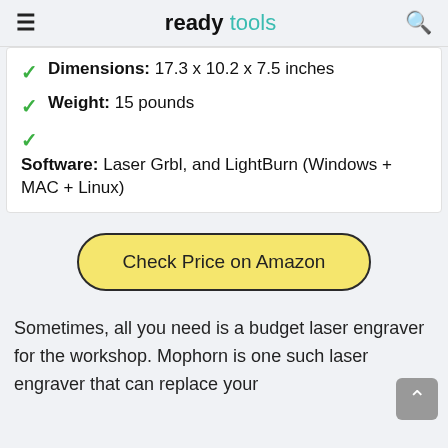ready tools
Dimensions: 17.3 x 10.2 x 7.5 inches
Weight: 15 pounds
Software: Laser Grbl, and LightBurn (Windows + MAC + Linux)
Check Price on Amazon
Sometimes, all you need is a budget laser engraver for the workshop. Mophorn is one such laser engraver that can replace your current primary device, or act as a secondary...